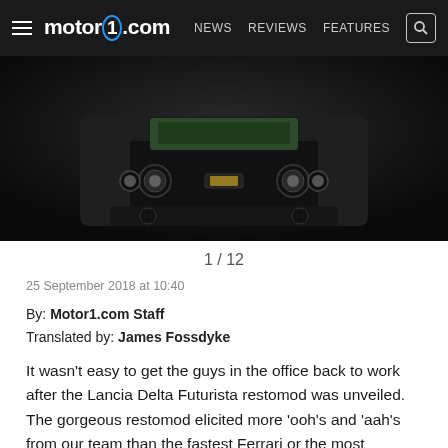motor1.com  NEWS  REVIEWS  FEATURES
[Figure (photo): Close-up front view of a dark-colored Lancia Delta Futurista restomod car against a dark background, showing headlights and grille details]
1 / 12
25 September 2018 at 10:40
By: Motor1.com Staff
Translated by: James Fossdyke
It wasn't easy to get the guys in the office back to work after the Lancia Delta Futurista restomod was unveiled. The gorgeous restomod elicited more 'ooh's and 'aah's from our team than the fastest Ferrari or the most outrageous Lamborghini.